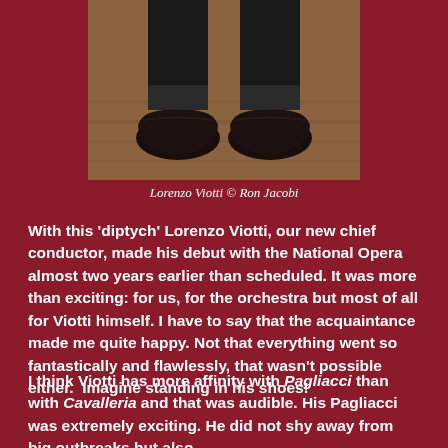[Figure (photo): Close-up photo of a person's feet wearing dark leather loafers/penny loafers on a wooden floor, with dark trouser cuffs visible at the top.]
Lorenzo Viotti © Ron Jacobi
With this 'diptych' Lorenzo Viotti, our new chief conductor, made his debut with the National Opera almost two years earlier than scheduled. It was more than exciting: for us, for the orchestra but most of all for Viotti himself. I have to say that the acquaintance made me quite happy. Not that everything went so fantastically and flawlessly, that wasn't possible either.  Imagine standing in his shoes!
I think Viotti has more affinity with Pagliacci than with Cavalleria and that was audible. His Pagliacci was extremely exciting. He did not shy away from big outbreaks but also